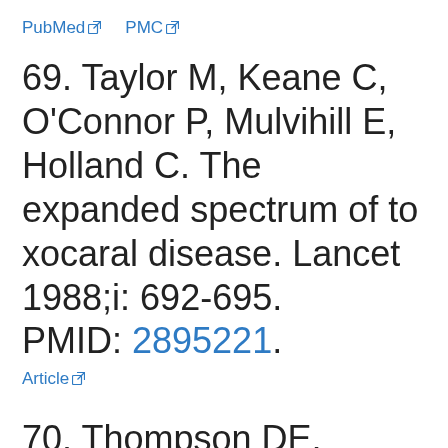PubMed  PMC
69. Taylor M, Keane C, O'Connor P, Mulvihill E, Holland C. The expanded spectrum of toxocaral disease. Lancet 1988;i: 692-695. PMID: 2895221. Article
70. Thompson DE, Bundy DA P, Cooper ES, Schantz PM. Epidemiological characteristics of Toxocara canis infection of children in a Carribean comm